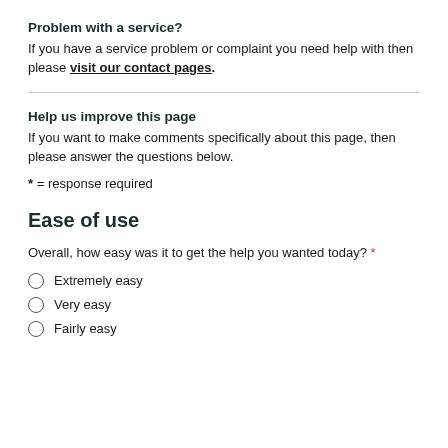Problem with a service?
If you have a service problem or complaint you need help with then please visit our contact pages.
Help us improve this page
If you want to make comments specifically about this page, then please answer the questions below.
* = response required
Ease of use
Overall, how easy was it to get the help you wanted today? *
Extremely easy
Very easy
Fairly easy